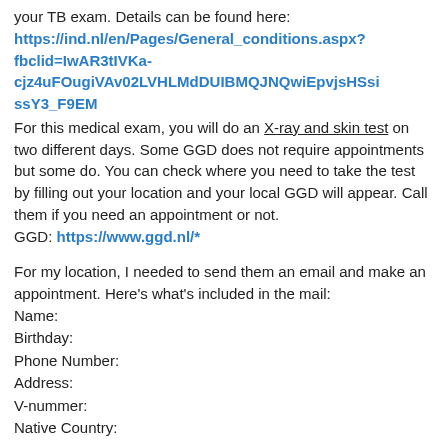your TB exam. Details can be found here: https://ind.nl/en/Pages/General_conditions.aspx?fbclid=IwAR3tIVKa-cjz4uFOugiVAv02LVHLMdDUIBMQJNQwiEpvjsHSsissY3_F9EM
For this medical exam, you will do an X-ray and skin test on two different days. Some GGD does not require appointments but some do. You can check where you need to take the test by filling out your location and your local GGD will appear. Call them if you need an appointment or not.
GGD: https://www.ggd.nl/*
For my location, I needed to send them an email and make an appointment. Here's what's included in the mail:
Name:
Birthday:
Phone Number:
Address:
V-nummer:
Native Country: